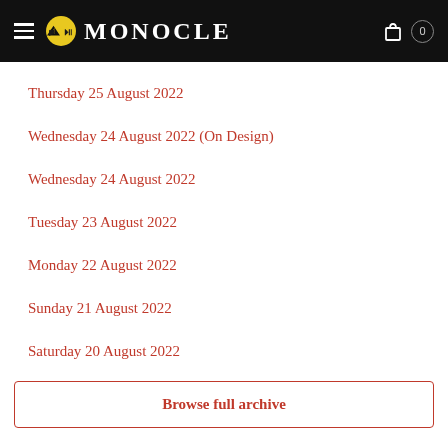MONOCLE
Thursday 25 August 2022
Wednesday 24 August 2022 (On Design)
Wednesday 24 August 2022
Tuesday 23 August 2022
Monday 22 August 2022
Sunday 21 August 2022
Saturday 20 August 2022
Browse full archive